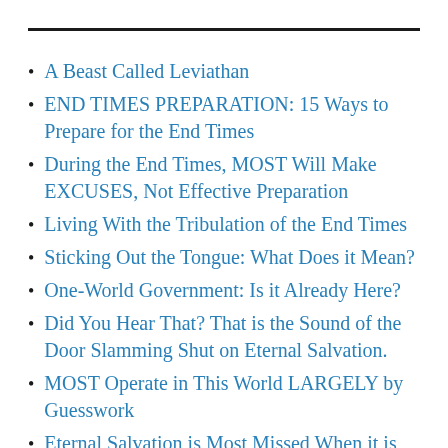A Beast Called Leviathan
END TIMES PREPARATION: 15 Ways to Prepare for the End Times
During the End Times, MOST Will Make EXCUSES, Not Effective Preparation
Living With the Tribulation of the End Times
Sticking Out the Tongue: What Does it Mean?
One-World Government: Is it Already Here?
Did You Hear That? That is the Sound of the Door Slamming Shut on Eternal Salvation.
MOST Operate in This World LARGELY by Guesswork
Eternal Salvation is Most Missed When it is